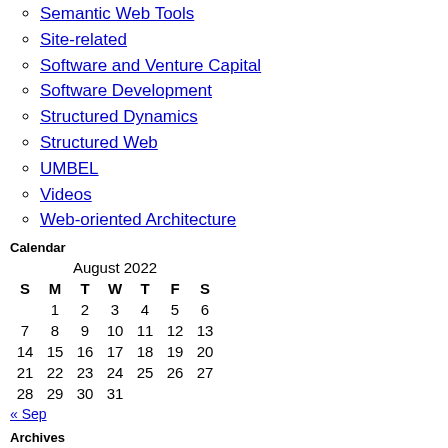Semantic Web Tools
Site-related
Software and Venture Capital
Software Development
Structured Dynamics
Structured Web
UMBEL
Videos
Web-oriented Architecture
Calendar
| S | M | T | W | T | F | S |
| --- | --- | --- | --- | --- | --- | --- |
|  | 1 | 2 | 3 | 4 | 5 | 6 |
| 7 | 8 | 9 | 10 | 11 | 12 | 13 |
| 14 | 15 | 16 | 17 | 18 | 19 | 20 |
| 21 | 22 | 23 | 24 | 25 | 26 | 27 |
| 28 | 29 | 30 | 31 |  |  |  |
« Sep
Archives